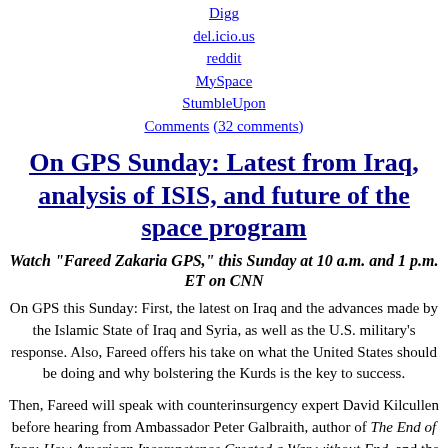Digg
del.icio.us
reddit
MySpace
StumbleUpon
Comments (32 comments)
On GPS Sunday: Latest from Iraq, analysis of ISIS, and future of the space program
Watch "Fareed Zakaria GPS," this Sunday at 10 a.m. and 1 p.m. ET on CNN
On GPS this Sunday: First, the latest on Iraq and the advances made by the Islamic State of Iraq and Syria, as well as the U.S. military’s response. Also, Fareed offers his take on what the United States should be doing and why bolstering the Kurds is the key to success.
Then, Fareed will speak with counterinsurgency expert David Kilcullen before hearing from Ambassador Peter Galbraith, author of The End of Iraq: How American Incompetence Created a War without End, and the London School of Economics’ Fawaz Gerges